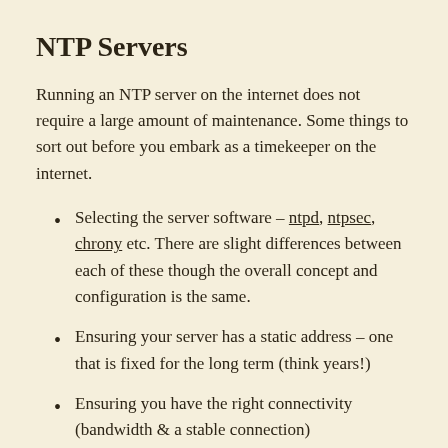NTP Servers
Running an NTP server on the internet does not require a large amount of maintenance. Some things to sort out before you embark as a timekeeper on the internet.
Selecting the server software – ntpd, ntpsec, chrony etc. There are slight differences between each of these though the overall concept and configuration is the same.
Ensuring your server has a static address – one that is fixed for the long term (think years!)
Ensuring you have the right connectivity (bandwidth & a stable connection)
In terms of hardware resources – both CPU and memory, the ask of an NTP server is minimal.